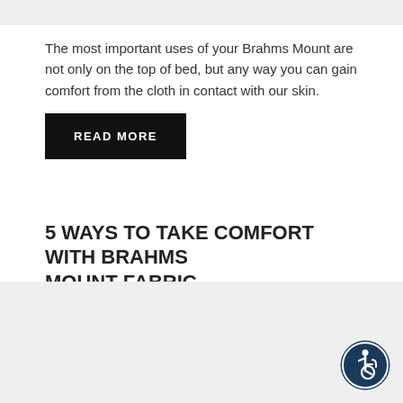The most important uses of your Brahms Mount are not only on the top of bed, but any way you can gain comfort from the cloth in contact with our skin.
READ MORE
5 WAYS TO TAKE COMFORT WITH BRAHMS MOUNT FABRIC
Posted on March 16 2016
[Figure (other): Light gray image placeholder area at the bottom of the page with an accessibility (wheelchair) icon in the bottom-right corner.]